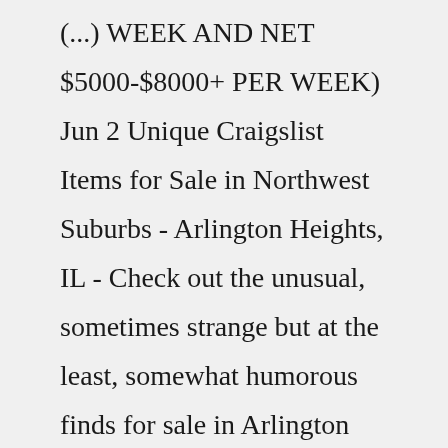(...)  WEEK AND NET $5000-$8000+ PER WEEK) Jun 2 Unique Craigslist Items for Sale in Northwest Suburbs - Arlington Heights, IL - Check out the unusual, sometimes strange but at the least, somewhat humorous finds for sale in Arlington Heights (East St $154,900 3br - 900ft2 - (iac > 355 West Randolph St, Marengo, IA 52301) $154,900 8mi hide this posting restore restore this posting